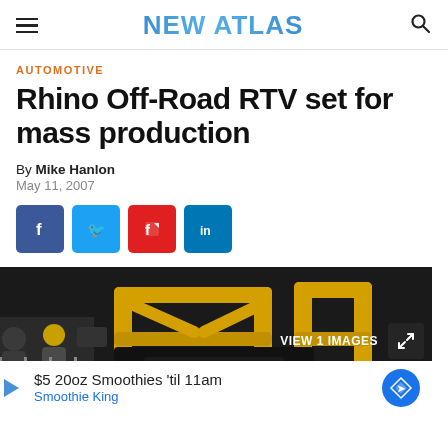NEW ATLAS
AUTOMOTIVE
Rhino Off-Road RTV set for mass production
By Mike Hanlon
May 11, 2007
[Figure (infographic): Social media share buttons: Facebook, Twitter, Flipboard, LinkedIn]
[Figure (photo): Photo of Rhino Off-Road RTV vehicle with yellow roll cage frame at an outdoor event, with VIEW 1 IMAGES badge]
$5 20oz Smoothies 'til 11am
Smoothie King